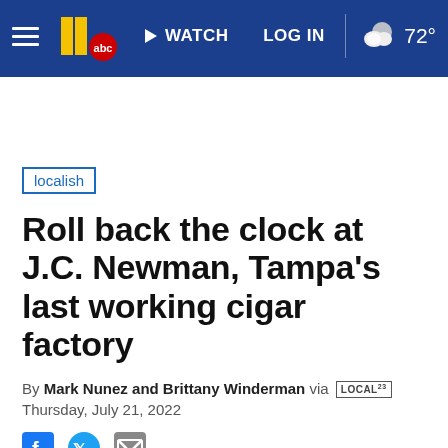WATCH   LOG IN   72°
localish
Roll back the clock at J.C. Newman, Tampa's last working cigar factory
By Mark Nunez and Brittany Winderman via LOCAL
Thursday, July 21, 2022